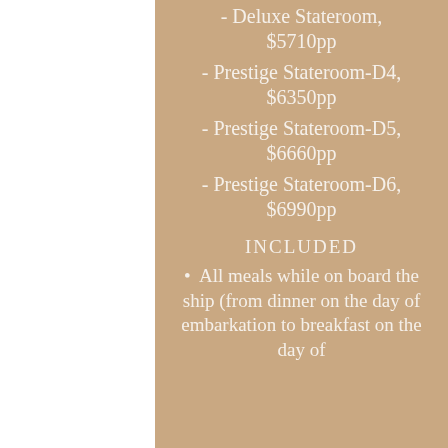- Deluxe Stateroom, $5710pp
- Prestige Stateroom-D4, $6350pp
- Prestige Stateroom-D5, $6660pp
- Prestige Stateroom-D6, $6990pp
INCLUDED
All meals while on board the ship (from dinner on the day of embarkation to breakfast on the day of disembarkation)